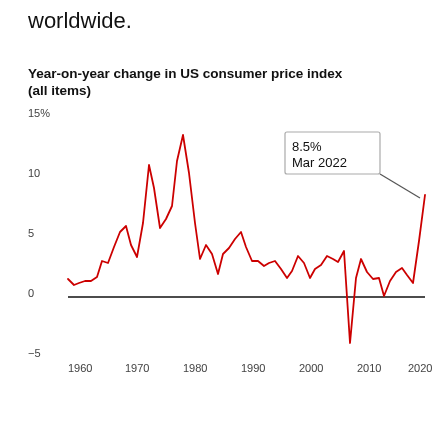worldwide.
[Figure (line-chart): Line chart showing US CPI year-on-year change from 1960 to 2022. Peak around 1980 at ~15%, deep negative around 2009 at ~-4%, latest point 8.5% Mar 2022 annotated.]